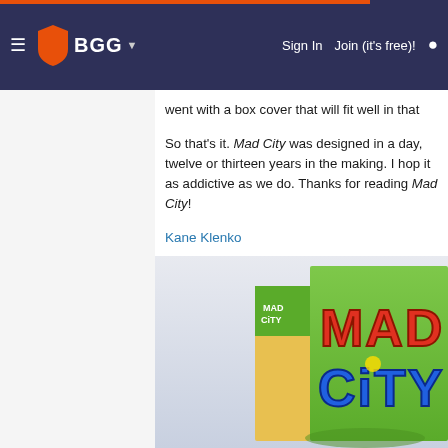BGG navigation header with Sign In, Join (it's free)!, and search
went with a box cover that will fit well in that
So that's it. Mad City was designed in a day, twelve or thirteen years in the making. I hop it as addictive as we do. Thanks for reading Mad City!
Kane Klenko
[Figure (photo): Mad City board game box cover showing colorful city theme with characters]